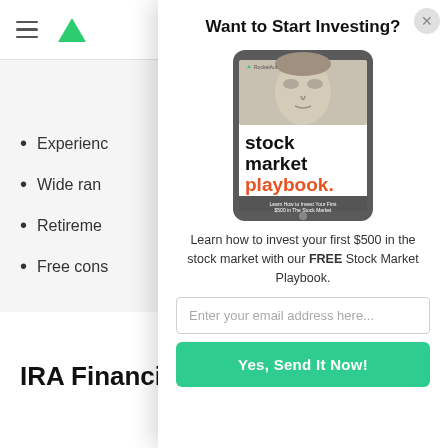Want to Start Investing?
[Figure (illustration): Tablet device showing the Stock Market Playbook book cover with 'stock market playbook.' text and a $100 bill image]
Learn how to invest your first $500 in the stock market with our FREE Stock Market Playbook.
Enter your email address here...
Yes, Send It Now!
Experienc
Wide ran
Retireme
Free cons
IRA Financial